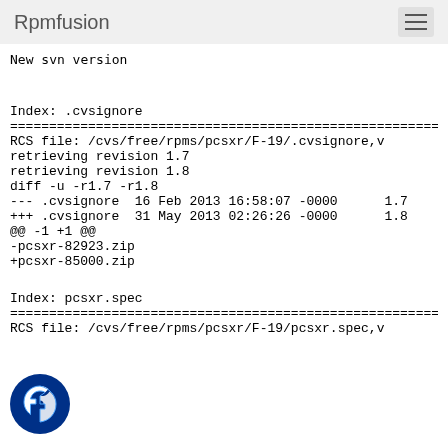Rpmfusion
New svn version
Index: .cvsignore
============================
RCS file: /cvs/free/rpms/pcsxr/F-19/.cvsignore,v
retrieving revision 1.7
retrieving revision 1.8
diff -u -r1.7 -r1.8
--- .cvsignore  16 Feb 2013 16:58:07 -0000      1.7
+++ .cvsignore  31 May 2013 02:26:26 -0000      1.8
@@ -1 +1 @@
-pcsxr-82923.zip
+pcsxr-85000.zip
Index: pcsxr.spec
============================
RCS file: /cvs/free/rpms/pcsxr/F-19/pcsxr.spec,v